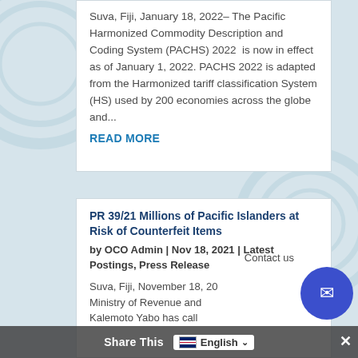Suva, Fiji, January 18, 2022– The Pacific Harmonized Commodity Description and Coding System (PACHS) 2022  is now in effect as of January 1, 2022. PACHS 2022 is adapted from the Harmonized tariff classification System (HS) used by 200 economies across the globe and...
READ MORE
PR 39/21 Millions of Pacific Islanders at Risk of Counterfeit Items
by OCO Admin | Nov 18, 2021 | Latest Postings, Press Release
Suva, Fiji, November 18, 20  Ministry of Revenue and  Kalemoto Yabo has call
Contact us
Share This    English ✕